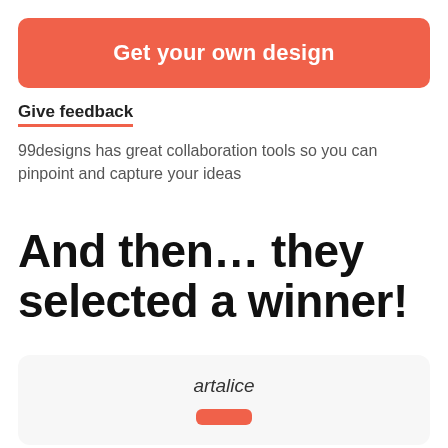[Figure (other): Red/coral rounded button banner with white bold text 'Get your own design']
Give feedback
99designs has great collaboration tools so you can pinpoint and capture your ideas
And then… they selected a winner!
artalice